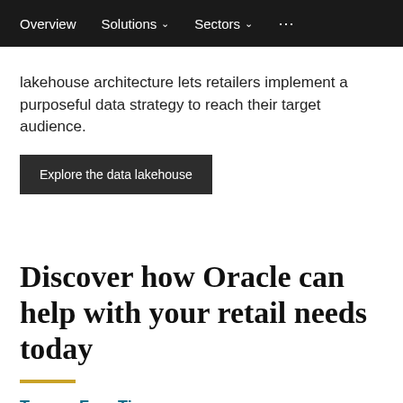Overview   Solutions   Sectors   ...
lakehouse architecture lets retailers implement a purposeful data strategy to reach their target audience.
Explore the data lakehouse
Discover how Oracle can help with your retail needs today
Try our Free Tier
Build, test, and deploy applications on Oracle Cloud—for free